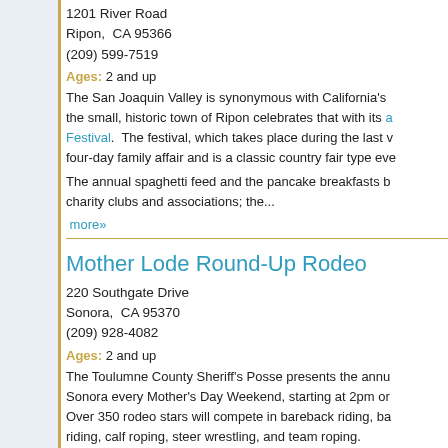1201 River Road
Ripon,  CA 95366
(209) 599-7519
Ages: 2 and up
The San Joaquin Valley is synonymous with California's the small, historic town of Ripon celebrates that with its annual Festival.  The festival, which takes place during the last w four-day family affair and is a classic country fair type eve
The annual spaghetti feed and the pancake breakfasts b charity clubs and associations; the...
more»
Mother Lode Round-Up Rodeo
220 Southgate Drive
Sonora,  CA 95370
(209) 928-4082
Ages: 2 and up
The Toulumne County Sheriff's Posse presents the annu Sonora every Mother's Day Weekend, starting at 2pm or Over 350 rodeo stars will compete in bareback riding, ba riding, calf roping, steer wrestling, and team roping.
Schedule of events for Saturday
10am parade in downtown Sonora
2pm PRCA Rodeo
Schedule of events for Sunday